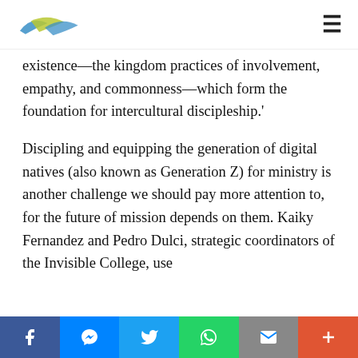[Logo] [Hamburger menu]
existence—the kingdom practices of involvement, empathy, and commonness—which form the foundation for intercultural discipleship.'
Discipling and equipping the generation of digital natives (also known as Generation Z) for ministry is another challenge we should pay more attention to, for the future of mission depends on them. Kaiky Fernandez and Pedro Dulci, strategic coordinators of the Invisible College, use
Facebook Messenger Twitter WhatsApp Email Plus